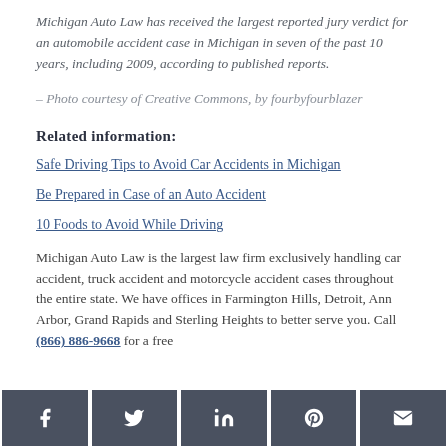Michigan Auto Law has received the largest reported jury verdict for an automobile accident case in Michigan in seven of the past 10 years, including 2009, according to published reports.
– Photo courtesy of Creative Commons, by fourbyfourblazer
Related information:
Safe Driving Tips to Avoid Car Accidents in Michigan
Be Prepared in Case of an Auto Accident
10 Foods to Avoid While Driving
Michigan Auto Law is the largest law firm exclusively handling car accident, truck accident and motorcycle accident cases throughout the entire state. We have offices in Farmington Hills, Detroit, Ann Arbor, Grand Rapids and Sterling Heights to better serve you. Call (866) 886-9668 for a free
[Figure (other): Social media share buttons: Facebook, Twitter, LinkedIn, Pinterest, Email]